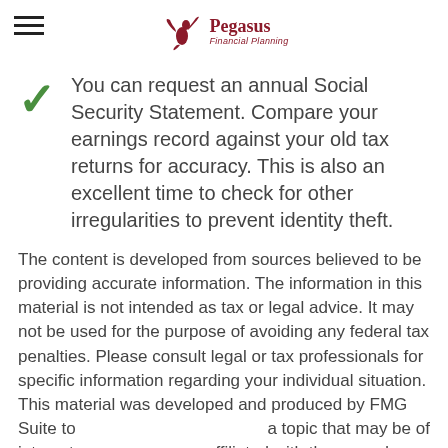Pegasus Financial Planning
You can request an annual Social Security Statement. Compare your earnings record against your old tax returns for accuracy. This is also an excellent time to check for other irregularities to prevent identity theft.
The content is developed from sources believed to be providing accurate information. The information in this material is not intended as tax or legal advice. It may not be used for the purpose of avoiding any federal tax penalties. Please consult legal or tax professionals for specific information regarding your individual situation. This material was developed and produced by FMG Suite to a topic that may be of interest affiliated with the named broker-dealer, state- or SEC-registered investment advisory